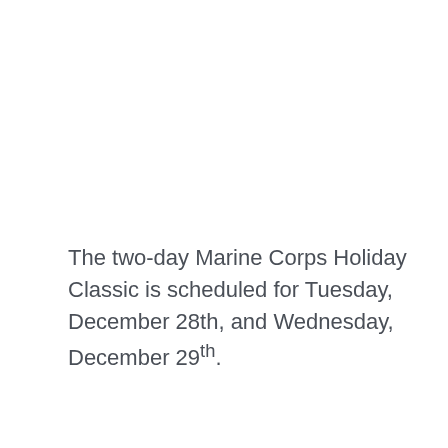The two-day Marine Corps Holiday Classic is scheduled for Tuesday, December 28th, and Wednesday, December 29th.